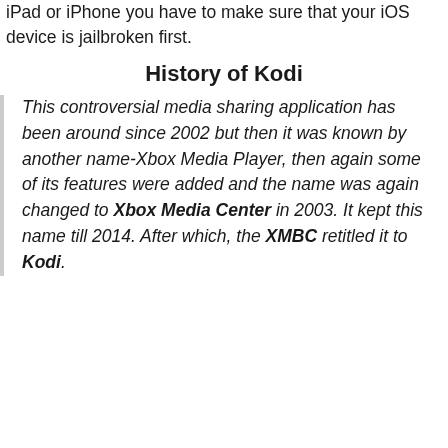iPad or iPhone you have to make sure that your iOS device is jailbroken first.
History of Kodi
This controversial media sharing application has been around since 2002 but then it was known by another name-Xbox Media Player, then again some of its features were added and the name was again changed to Xbox Media Center in 2003. It kept this name till 2014. After which, the XMBC retitled it to Kodi.